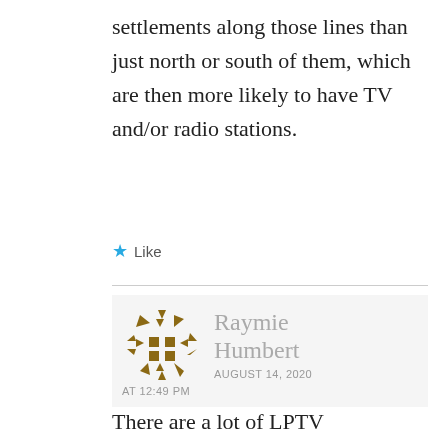settlements along those lines than just north or south of them, which are then more likely to have TV and/or radio stations.
★ Like
Raymie Humbert
AUGUST 14, 2020
AT 12:49 PM
There are a lot of LPTV